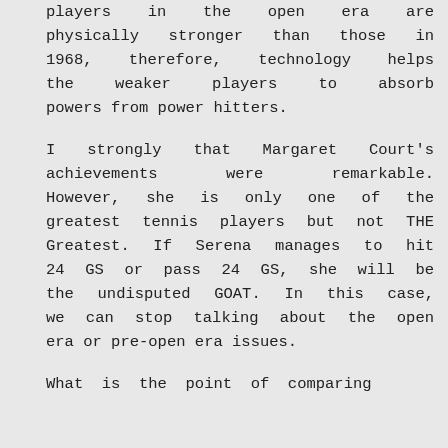players in the open era are physically stronger than those in 1968, therefore, technology helps the weaker players to absorb powers from power hitters.
I strongly that Margaret Court's achievements were remarkable. However, she is only one of the greatest tennis players but not THE Greatest. If Serena manages to hit 24 GS or pass 24 GS, she will be the undisputed GOAT. In this case, we can stop talking about the open era or pre-open era issues.
What is the point of comparing